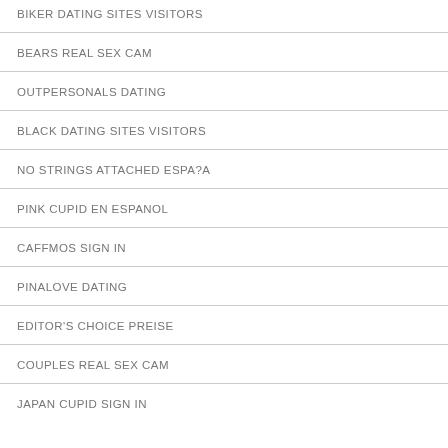BIKER DATING SITES VISITORS
BEARS REAL SEX CAM
OUTPERSONALS DATING
BLACK DATING SITES VISITORS
NO STRINGS ATTACHED ESPA?A
PINK CUPID EN ESPANOL
CAFFMOS SIGN IN
PINALOVE DATING
EDITOR'S CHOICE PREISE
COUPLES REAL SEX CAM
JAPAN CUPID SIGN IN